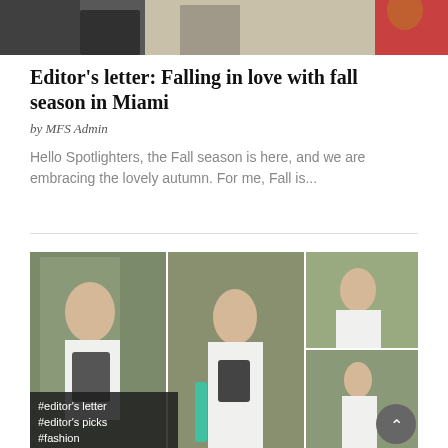[Figure (photo): Top cropped photo strip showing partial view of a person in black on the left side and a person in a red dress on the right side, outdoors]
Editor's letter: Falling in love with fall season in Miami
by MFS Admin
Hello Spotlighters, the Fall season is here, and we are embracing the lovely autumn. For me, Fall is...
[Figure (photo): Photo collage of a woman in a white lace dress holding a tablet, posing next to a large tree trunk outdoors with green lawn and houses in background. Three photos arranged in grid: one large on left, one tall center, two stacked on right. Tags overlay shows #editor's letter, #editor's picks, #fashion. Back-to-top button in bottom right corner.]